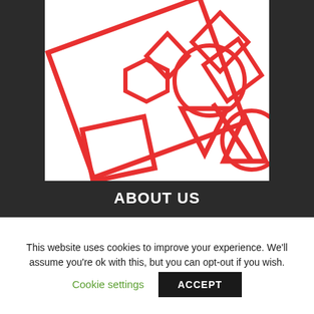[Figure (illustration): White background with multiple red outlined geometric shapes scattered across: diamonds, hexagons, circles, triangles, rectangles, arranged in an overlapping, random pattern.]
ABOUT US
This website uses cookies to improve your experience. We'll assume you're ok with this, but you can opt-out if you wish.
Cookie settings   ACCEPT